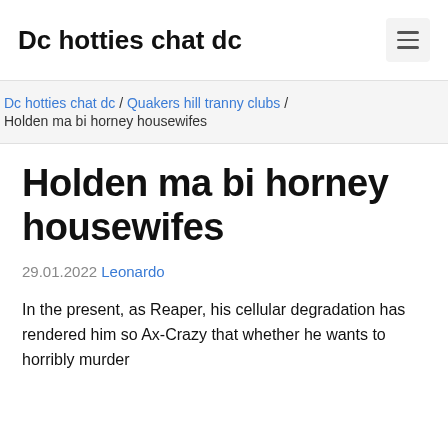Dc hotties chat dc
Dc hotties chat dc / Quakers hill tranny clubs / Holden ma bi horney housewifes
Holden ma bi horney housewifes
29.01.2022 Leonardo
In the present, as Reaper, his cellular degradation has rendered him so Ax-Crazy that whether he wants to horribly murder